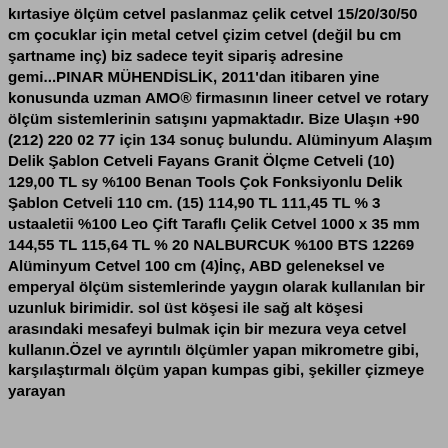kırtasiye ölçüm cetvel paslanmaz çelik cetvel 15/20/30/50 cm çocuklar için metal cetvel çizim cetvel (değil bu cm şartname inç) biz sadece teyit sipariş adresine gemi...PINAR MÜHENDİSLİK, 2011'dan itibaren yine konusunda uzman AMO® firmasının lineer cetvel ve rotary ölçüm sistemlerinin satışını yapmaktadır. Bize Ulaşın +90 (212) 220 02 77 için 134 sonuç bulundu. Alüminyum Alaşım Delik Şablon Cetveli Fayans Granit Ölçme Cetveli (10) 129,00 TL sy %100 Benan Tools Çok Fonksiyonlu Delik Şablon Cetveli 110 cm. (15) 114,90 TL 111,45 TL % 3 ustaaletii %100 Leo Çift Taraflı Çelik Cetvel 1000 x 35 mm 144,55 TL 115,64 TL % 20 NALBURCUK %100 BTS 12269 Alüminyum Cetvel 100 cm (4)İnç, ABD geleneksel ve emperyal ölçüm sistemlerinde yaygın olarak kullanılan bir uzunluk birimidir. sol üst köşesi ile sağ alt köşesi arasındaki mesafeyi bulmak için bir mezura veya cetvel kullanın.Özel ve ayrıntılı ölçümler yapan mikrometre gibi, karşılaştırmalı ölçüm yapan kumpas gibi, şekiller çizmeye yarayan cetvel gibi ölçüm aletleri ve cetvel çeşitleri ucuz fiyatlarla.